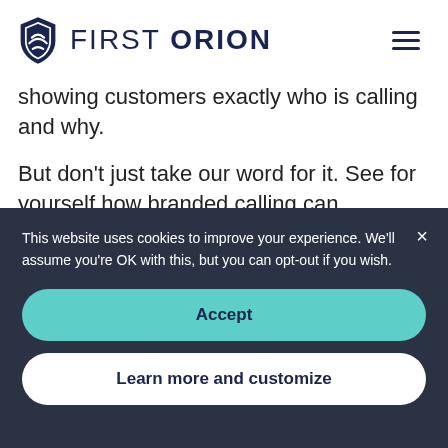[Figure (logo): First Orion logo with shield icon and hamburger menu icon on the right]
showing customers exactly who is calling and why.
But don't just take our word for it. See for yourself how branded calling can
This website uses cookies to improve your experience. We'll assume you're OK with this, but you can opt-out if you wish.
Accept
Learn more and customize